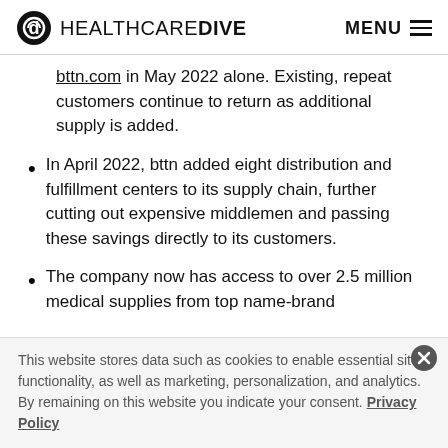HEALTHCARE DIVE  MENU
bttn.com in May 2022 alone. Existing, repeat customers continue to return as additional supply is added.
In April 2022, bttn added eight distribution and fulfillment centers to its supply chain, further cutting out expensive middlemen and passing these savings directly to its customers.
The company now has access to over 2.5 million medical supplies from top name-brand
This website stores data such as cookies to enable essential site functionality, as well as marketing, personalization, and analytics. By remaining on this website you indicate your consent. Privacy Policy